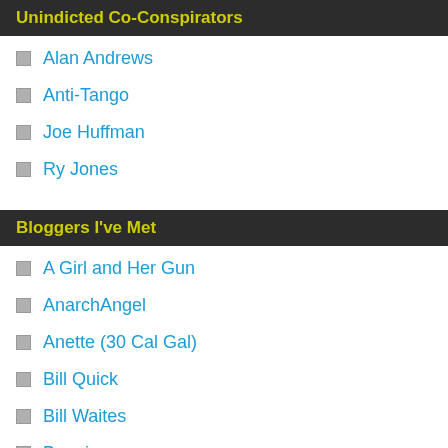Unindicted Co-Conspirators
Alan Andrews
Anti-Tango
Joe Huffman
Ry Jones
Bloggers I've Met
A Girl and Her Gun
AnarchAngel
Anette (30 Cal Gal)
Bill Quick
Bill Waites
Bonnie